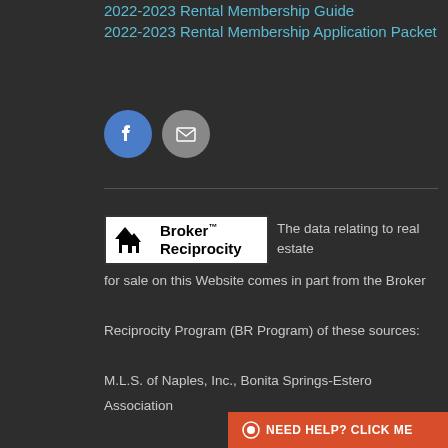2022-2023 Rental Membership Guide
2022-2023 Rental Membership Application Packet
[Figure (logo): Broker Reciprocity logo with house icon and bold text]
The data relating to real estate for sale on this Website comes in part from the Broker Reciprocity Program (BR Program) of these sources: M.L.S. of Naples, Inc., Bonita Springs-Estero Association of REALTORS®, Southwest Florida MLS (Gulf Coast), My Florida Regional MLS DBA Stellar MLS, Sanibel and Captiva Island Association of Realtors